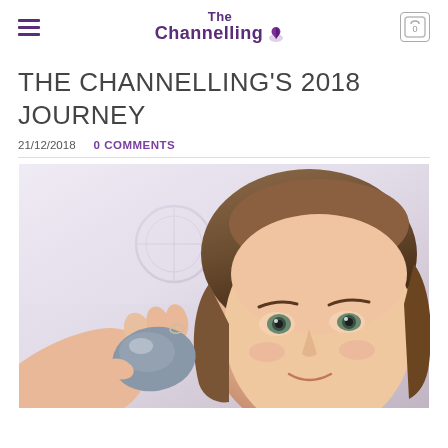The Channelling
THE CHANNELLING'S 2018 JOURNEY
21/12/2018   0 COMMENTS
[Figure (photo): A woman holding up a grey smooth stone/crystal in front of her face. She has long straight brown hair and is smiling. There is a dreamcatcher or circular object in the background against a white wall.]